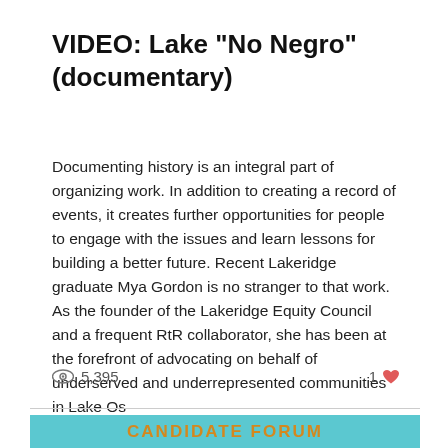VIDEO: Lake "No Negro" (documentary)
Documenting history is an integral part of organizing work. In addition to creating a record of events, it creates further opportunities for people to engage with the issues and learn lessons for building a better future. Recent Lakeridge graduate Mya Gordon is no stranger to that work. As the founder of the Lakeridge Equity Council and a frequent RtR collaborator, she has been at the forefront of advocating on behalf of underserved and underrepresented communities in Lake Os
5,395 views · 1 like
CANDIDATE FORUM